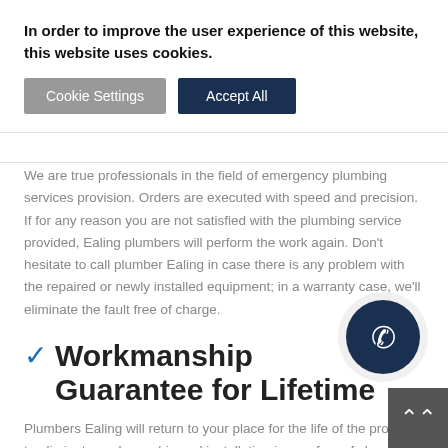In order to improve the user experience of this website, this website uses cookies.
Cookie Settings | Accept All
We are true professionals in the field of emergency plumbing services provision. Orders are executed with speed and precision. If for any reason you are not satisfied with the plumbing service provided, Ealing plumbers will perform the work again. Don’t hesitate to call plumber Ealing in case there is any problem with the repaired or newly installed equipment; in a warranty case, we’ll eliminate the fault free of charge.
✓ Workmanship Guarantee for Lifetime
Plumbers Ealing will return to your place for the life of the product to eliminate workmanship and installation issues free of charge, no questions asked.
[Figure (other): Blue phone call button circle in bottom right corner]